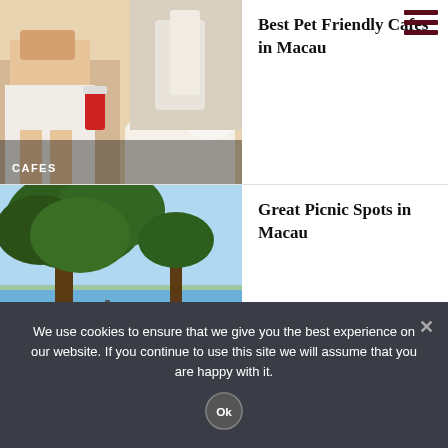[Figure (photo): Woman at cafe with small dog dressed in white outfit on table, outdoor seating]
CAFES
Best Pet Friendly Cafes in Macau
[Figure (photo): Scenic beach park with large trees and sandy shore, blue sky]
FAMILY
Great Picnic Spots in Macau
[Figure (photo): Partially visible third article image]
Macau Ferries: Travelling...
We use cookies to ensure that we give you the best experience on our website. If you continue to use this site we will assume that you are happy with it.